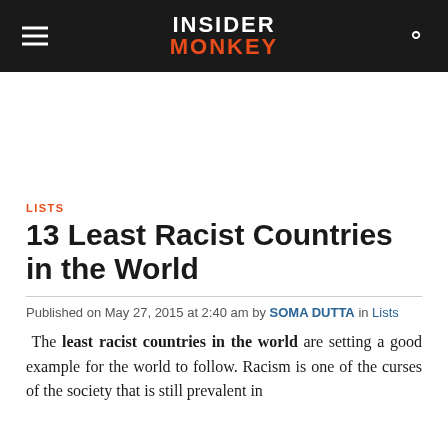INSIDER MONKEY
LISTS
13 Least Racist Countries in the World
Published on May 27, 2015 at 2:40 am by SOMA DUTTA in Lists
The least racist countries in the world are setting a good example for the world to follow. Racism is one of the curses of the society that is still prevalent in